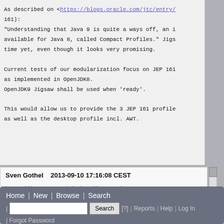As described on <https://blogs.oracle.com/jtc/entry/...161):
"Understanding that Java 9 is quite a ways off, an i... available for Java 8, called Compact Profiles." Jigs... time yet, even though it looks very promising.

Current tests of our modularization focus on JEP 161 as implemented in OpenJDK8.
OpenJDK9 Jigsaw shall be used when 'ready'.

This would allow us to provide the 3 JEP 161 profile... as well as the desktop profile incl. AWT.
Sven Gothel    2013-09-10 17:16:08 CEST
http://jogamp.org/git/?p=jigong.git;a=summary
Format For Printing - XML - Clone This Bug - Top of page
Home | New | Browse | Search | [?] | Reports | Help | Log In | Forgot Password